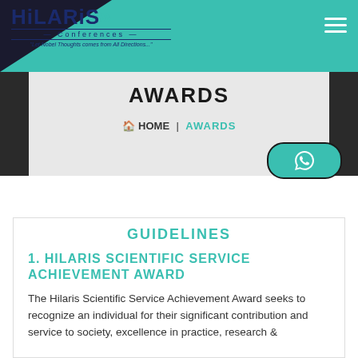[Figure (logo): Hilaris Conferences logo with teal arrows and dark blue text, tagline 'Let Nobel Thoughts comes from All Directions...']
AWARDS
HOME | AWARDS
GUIDELINES
1. HILARIS SCIENTIFIC SERVICE ACHIEVEMENT AWARD
The Hilaris Scientific Service Achievement Award seeks to recognize an individual for their significant contribution and service to society, excellence in practice, research &